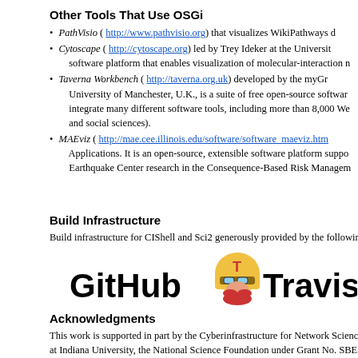Other Tools That Use OSGi
PathVisio ( http://www.pathvisio.org) that visualizes WikiPathways d...
Cytoscape ( http://cytoscape.org) led by Trey Ideker at the University... software platform that enables visualization of molecular-interaction n...
Taverna Workbench ( http://taverna.org.uk) developed by the myGri... University of Manchester, U.K., is a suite of free open-source softwar... integrate many different software tools, including more than 8,000 We... and social sciences).
MAEviz ( http://mae.cee.illinois.edu/software/software_maeviz.htm... Applications. It is an open-source, extensible software platform suppo... Earthquake Center research in the Consequence-Based Risk Managem...
Build Infrastructure
Build infrastructure for CIShell and Sci2 generously provided by the followin...
[Figure (logo): GitHub and Travis CI logos side by side]
Acknowledgments
This work is supported in part by the Cyberinfrastructure for Network Scienc... at Indiana University, the National Science Foundation under Grant No. SBE... the James S. McDonnell Foundation. Any opinions, findings, and conclusions... the author(s) and do not necessarily reflect the views of the National Scien...